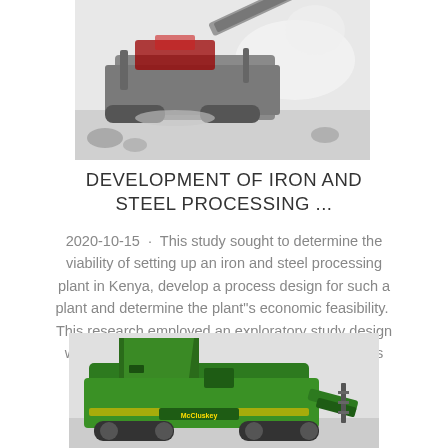[Figure (photo): Industrial mobile crusher/processing machine on a quarry or mining site, black and white/grey tones, large tracked vehicle with conveyor]
DEVELOPMENT OF IRON AND STEEL PROCESSING ...
2020-10-15 · This study sought to determine the viability of setting up an iron and steel processing plant in Kenya, develop a process design for such a plant and determine the plant"s economic feasibility. This research employed an exploratory study design with its main objective being to develop a process design that could be us...
[Figure (photo): Green industrial crushing/processing machine (McCluskey brand visible), green and yellow heavy equipment]